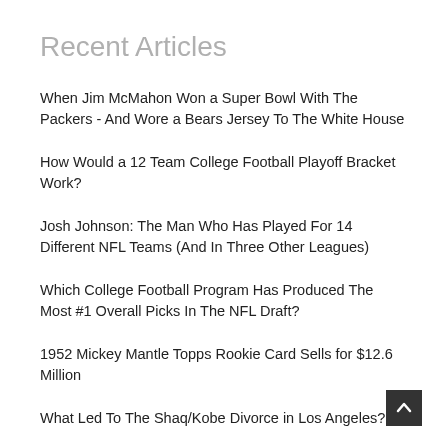Recent Articles
When Jim McMahon Won a Super Bowl With The Packers - And Wore a Bears Jersey To The White House
How Would a 12 Team College Football Playoff Bracket Work?
Josh Johnson: The Man Who Has Played For 14 Different NFL Teams (And In Three Other Leagues)
Which College Football Program Has Produced The Most #1 Overall Picks In The NFL Draft?
1952 Mickey Mantle Topps Rookie Card Sells for $12.6 Million
What Led To The Shaq/Kobe Divorce in Los Angeles?
The George Brett Pine Tar Incident
Erling Haaland's Nine Goal Game
Donald Trump Tried To Buy The Buffalo Bills AND New